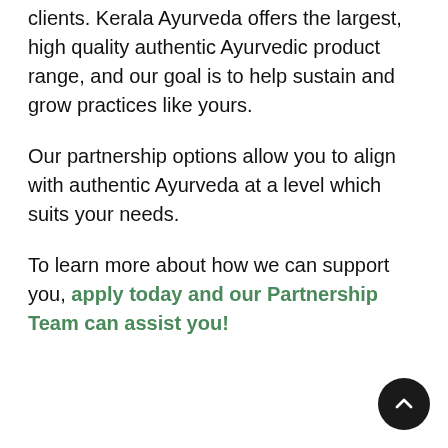clients. Kerala Ayurveda offers the largest, high quality authentic Ayurvedic product range, and our goal is to help sustain and grow practices like yours.
Our partnership options allow you to align with authentic Ayurveda at a level which suits your needs.
To learn more about how we can support you, apply today and our Partnership Team can assist you!